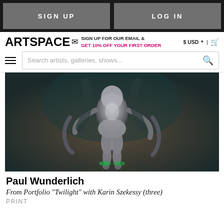SIGN UP | LOG IN
ARTSPACE SIGN UP FOR OUR EMAIL & GET 10% OFF YOUR FIRST ORDER $ USD | cart
Search artists, galleries, shows...
[Figure (photo): A silver/metallic humanoid figure (robot or suited figure) suspended against a dark teal/brown background, with mechanical appendages visible. Artwork by Paul Wunderlich.]
Paul Wunderlich
From Portfolio "Twilight" with Karin Szekessy (three)
PRINT